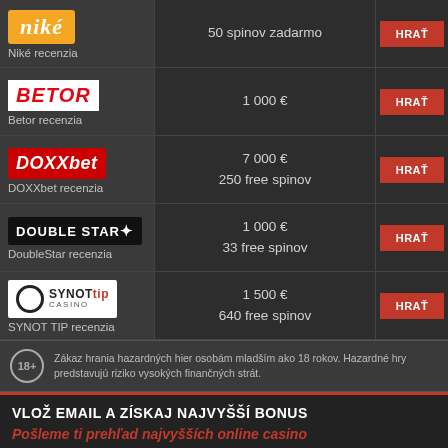| Logo/Recenzia | Bonus | Akcia |
| --- | --- | --- |
| niké | Niké recenzia | 50 spinov zadarmo | HRAŤ |
| BETOR | Betor recenzia | 1 000 € | HRAŤ |
| DOXXbet | DOXXbet recenzia | 7 000 € | 250 free spinov | HRAŤ |
| DOUBLE STAR | DoubleStar recenzia | 1 000 € | 33 free spinov | HRAŤ |
| SYNOTTIP CASINO | SYNOT TIP recenzia | 1 500 € | 640 free spinov | HRAŤ |
Zákaz hrania hazardných hier osobám mladším ako 18 rokov. Hazardné hry predstavujú riziko vysokých finančných strát.
VLOŽ EMAIL A ZÍSKAJ NAJVYŠŠÍ BONUS
Pošleme ti prehľad najvyšších online casino